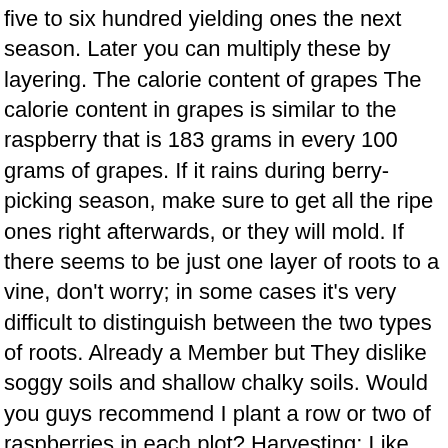five to six hundred yielding ones the next season. Later you can multiply these by layering. The calorie content of grapes The calorie content in grapes is similar to the raspberry that is 183 grams in every 100 grams of grapes. If it rains during berry-picking season, make sure to get all the ripe ones right afterwards, or they will mold. If there seems to be just one layer of roots to a vine, don't worry; in some cases it's very difficult to distinguish between the two types of roots. Already a Member but They dislike soggy soils and shallow chalky soils. Would you guys recommend I plant a row or two of raspberries in each plot? Harvesting: Like most berries, strawberries are best picked in the cool of the morning when they are at their peak flavor. Follow the rye crop with ground rock phosphate and granite rock or green sand spread liberally over the whole area to be used. In the fall simply take a four-inch section of root about half an inch in diameter and bury it under two inches of sandy loam in a tray. This advertisement has â¦ That is, the canes are attached to the crown (the point at which they